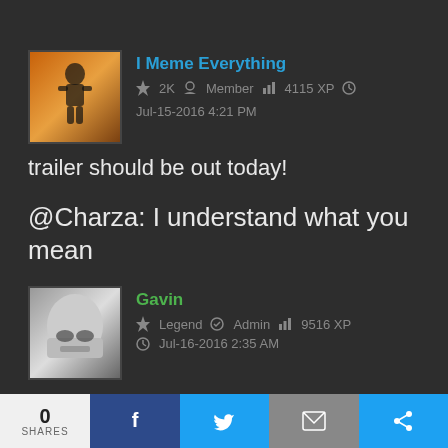[Figure (screenshot): Forum/social post by user 'I Meme Everything' with rank 2K, Member, 4115 XP, posted Jul-15-2016 4:21 PM. Post text: 'trailer should be out today!' followed by '@Charza: I understand what you mean']
I Meme Everything
2K   Member   4115 XP   Jul-15-2016 4:21 PM
trailer should be out today!
@Charza: I understand what you mean
[Figure (screenshot): Forum reply by user 'Gavin' with rank Legend, Admin, 9516 XP, posted Jul-16-2016 2:35 AM. Post text begins: 'It was, but only to those at the Star Wars']
Gavin
Legend   Admin   9516 XP
Jul-16-2016 2:35 AM
It was, but only to those at the Star Wars
0 SHARES  f  [twitter]  [email]  [share]